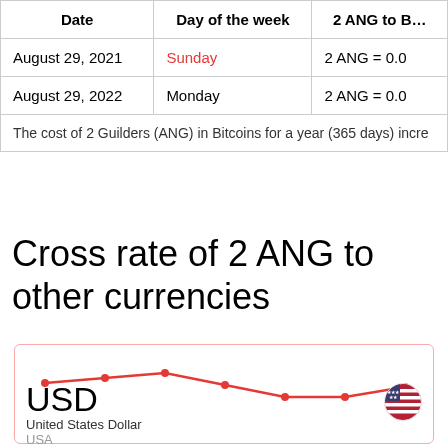| Date | Day of the week | 2 ANG to BT |
| --- | --- | --- |
| August 29, 2021 | Sunday | 2 ANG = 0.0 |
| August 29, 2022 | Monday | 2 ANG = 0.0 |
| The cost of 2 Guilders (ANG) in Bitcoins for a year (365 days) incre |  |  |
Cross rate of 2 ANG to other currencies
[Figure (line-chart): Line chart showing currency rate trend for 2 ANG to USD, with red line showing slight decline then recovery]
United States Dollar
USA
1.11 USD